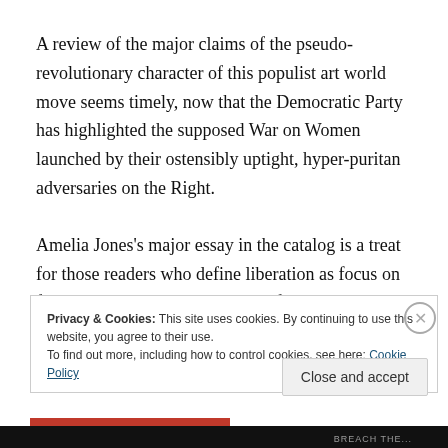A review of the major claims of the pseudo-revolutionary character of this populist art world move seems timely, now that the Democratic Party has highlighted the supposed War on Women launched by their ostensibly uptight, hyper-puritan adversaries on the Right.
Amelia Jones's major essay in the catalog is a treat for those readers who define liberation as focus on female genitals.  In guilty liberal fashion, she does complain that a
Privacy & Cookies: This site uses cookies. By continuing to use this website, you agree to their use.
To find out more, including how to control cookies, see here: Cookie Policy